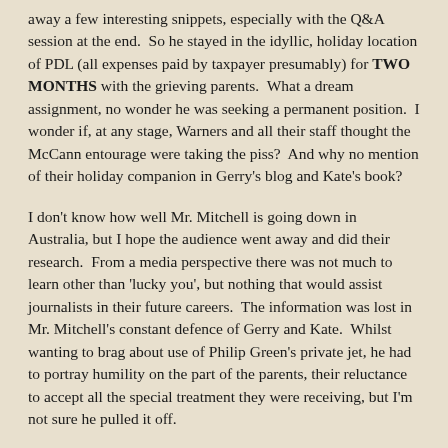away a few interesting snippets, especially with the Q&A session at the end.  So he stayed in the idyllic, holiday location of PDL (all expenses paid by taxpayer presumably) for TWO MONTHS with the grieving parents.  What a dream assignment, no wonder he was seeking a permanent position.  I wonder if, at any stage, Warners and all their staff thought the McCann entourage were taking the piss?  And why no mention of their holiday companion in Gerry's blog and Kate's book?
I don't know how well Mr. Mitchell is going down in Australia, but I hope the audience went away and did their research.  From a media perspective there was not much to learn other than 'lucky you', but nothing that would assist journalists in their future careers.  The information was lost in Mr. Mitchell's constant defence of Gerry and Kate.  Whilst wanting to brag about use of Philip Green's private jet, he had to portray humility on the part of the parents, their reluctance to accept all the special treatment they were receiving, but I'm not sure he pulled it off.
Those who listened carefully, will have noticed the glaring contradiction between his claimed 300 calls from journalists a day,